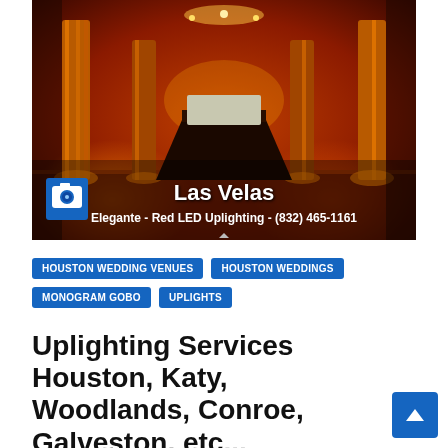[Figure (photo): Indoor event venue photo showing ornate decorated columns with red/orange LED uplighting, a wedding reception setup with draped tables, warm amber ambience. Overlay text reads 'Las Velas' and 'Elegante - Red LED Uplighting - (832) 465-1161'. A blue camera icon button is in the lower left of the image.]
HOUSTON WEDDING VENUES
HOUSTON WEDDINGS
MONOGRAM GOBO
UPLIGHTS
Uplighting Services Houston, Katy, Woodlands, Conroe, Galveston, etc...